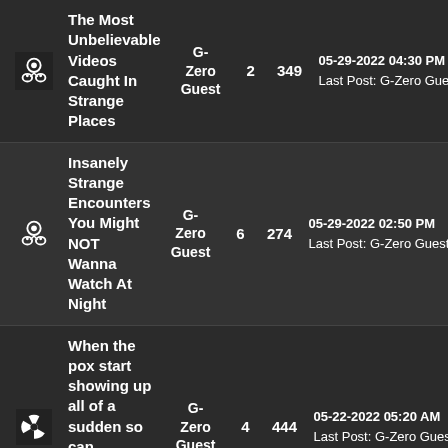| Icon | Title | Author | Replies | Views | Last Post |
| --- | --- | --- | --- | --- | --- |
| [icon] | The Most Unbelievable Videos Caught In Strange Places | G-Zero Guest | 2 | 349 | 05-29-2022 04:30 PM
Last Post: G-Zero Guest |
| [icon] | Insanely Strange Encounters You Might NOT Wanna Watch At Night | G-Zero Guest | 6 | 274 | 05-29-2022 02:50 PM
Last Post: G-Zero Guest |
| [radioactive] | When the pox start showing up all of a sudden so can Ebola...keep that in mind! | G-Zero Guest | 4 | 444 | 05-22-2022 05:20 AM
Last Post: G-Zero Guest |
| [icon] | 'War Is Coming': |  |  |  |  |